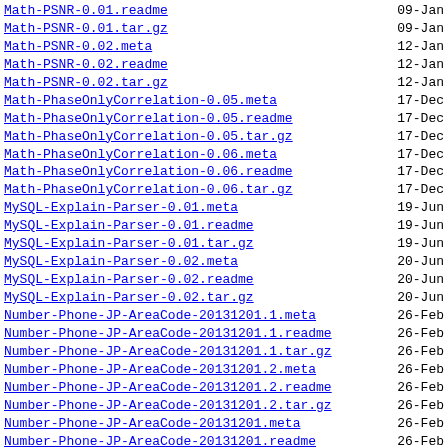Math-PSNR-0.01.readme   09-Jan
Math-PSNR-0.01.tar.gz   09-Jan
Math-PSNR-0.02.meta   12-Jan
Math-PSNR-0.02.readme   12-Jan
Math-PSNR-0.02.tar.gz   12-Jan
Math-PhaseOnlyCorrelation-0.05.meta   17-Dec
Math-PhaseOnlyCorrelation-0.05.readme   17-Dec
Math-PhaseOnlyCorrelation-0.05.tar.gz   17-Dec
Math-PhaseOnlyCorrelation-0.06.meta   17-Dec
Math-PhaseOnlyCorrelation-0.06.readme   17-Dec
Math-PhaseOnlyCorrelation-0.06.tar.gz   17-Dec
MySQL-Explain-Parser-0.01.meta   19-Jun
MySQL-Explain-Parser-0.01.readme   19-Jun
MySQL-Explain-Parser-0.01.tar.gz   19-Jun
MySQL-Explain-Parser-0.02.meta   20-Jun
MySQL-Explain-Parser-0.02.readme   20-Jun
MySQL-Explain-Parser-0.02.tar.gz   20-Jun
Number-Phone-JP-AreaCode-20131201.1.meta   26-Feb
Number-Phone-JP-AreaCode-20131201.1.readme   26-Feb
Number-Phone-JP-AreaCode-20131201.1.tar.gz   26-Feb
Number-Phone-JP-AreaCode-20131201.2.meta   26-Feb
Number-Phone-JP-AreaCode-20131201.2.readme   26-Feb
Number-Phone-JP-AreaCode-20131201.2.tar.gz   26-Feb
Number-Phone-JP-AreaCode-20131201.meta   26-Feb
Number-Phone-JP-AreaCode-20131201.readme   26-Feb
Number-Phone-JP-AreaCode-20131201.tar.gz   26-Feb
Parse-KeyValue-Shellish-0.01.meta   15-May
Parse-KeyValue-Shellish-0.01.readme   15-May
Parse-KeyValue-Shellish-0.01.tar.gz   15-May
Perl-Lint-0.01.01.tar.gz   12-Aug